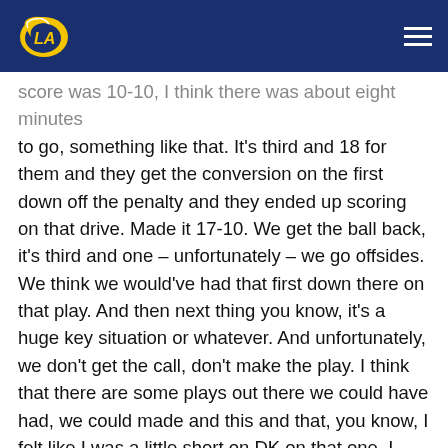LA Rams logo and navigation menu
score was 10-10, I think there was about eight minutes to go, something like that. It's third and 18 for them and they get the conversion on the first down off the penalty and they ended up scoring on that drive. Made it 17-10. We get the ball back, it's third and one – unfortunately – we go offsides. We think we would've had that first down there on that play. And then next thing you know, it's a huge key situation or whatever. And unfortunately, we don't get the call, don't make the play. I think that there are some plays out there we could have had, we could made and this and that, you know, I felt like I was a little short on DK on that one. I wish I could have had that one back maybe, but other than that, I felt like we played a good game. It was a tight game. We didn't get as much opportunities as we wanted to. We had some third longs, you know, obviously, they're a good defense. They had good pass